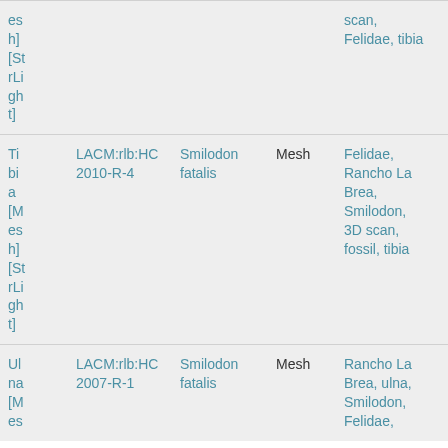| Name | ID | Species | Type | Tags | Action |
| --- | --- | --- | --- | --- | --- |
| Tibia [Mesh] [StrLight] |  |  |  | scan, Felidae, tibia |  |
| Tibia [Mesh] [StrLight] | LACM:rlb:HC2010-R-4 | Smilodon fatalis | Mesh | Felidae, Rancho La Brea, Smilodon, 3D scan, fossil, tibia | Open |
| Ulna [Mes | LACM:rlb:HC2007-R-1 | Smilodon fatalis | Mesh | Rancho La Brea, ulna, Smilodon, Felidae, | Open |